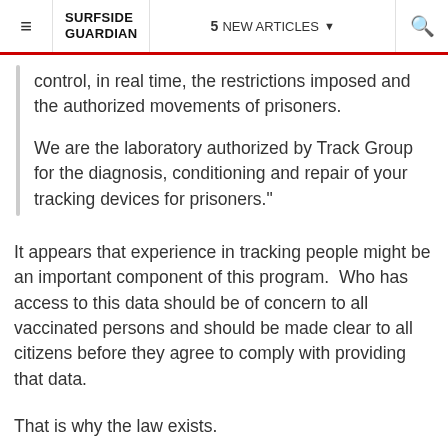SURFSIDE GUARDIAN | 5 NEW ARTICLES | Search
control, in real time, the restrictions imposed and the authorized movements of prisoners.

We are the laboratory authorized by Track Group for the diagnosis, conditioning and repair of your tracking devices for prisoners."
It appears that experience in tracking people might be an important component of this program.  Who has access to this data should be of concern to all vaccinated persons and should be made clear to all citizens before they agree to comply with providing that data.
That is why the law exists.